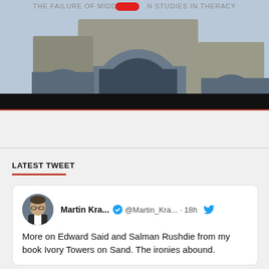[Figure (photo): Book cover or article image showing stone arch structures against a sky background, with a red element and partial text at top reading 'THE FAILURE OF MIDD...N STUDIES IN THERAC...' and a black bar at the bottom.]
LATEST TWEET
Martin Kra... @Martin_Kra... · 18h
More on Edward Said and Salman Rushdie from my book Ivory Towers on Sand. The ironies abound.